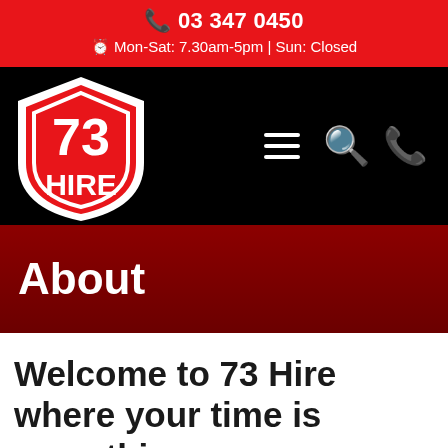📞 03 347 0450
🕐 Mon-Sat: 7.30am-5pm | Sun: Closed
[Figure (logo): 73 Hire shield logo — red shield with white border, white text '73' on top and 'HIRE' on bottom]
About
Welcome to 73 Hire where your time is everything.